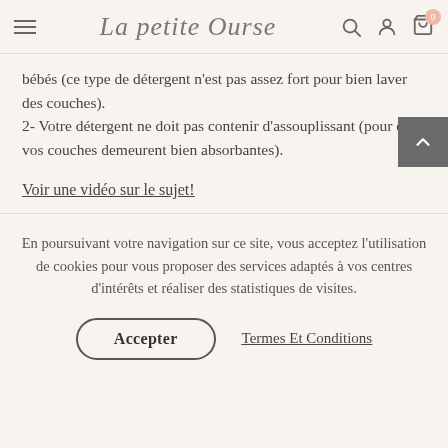La petite Ourse
bébés (ce type de détergent n'est pas assez fort pour bien laver des couches).
2- Votre détergent ne doit pas contenir d'assouplissant (pour que vos couches demeurent bien absorbantes).
Voir une vidéo sur le sujet!
En poursuivant votre navigation sur ce site, vous acceptez l'utilisation de cookies pour vous proposer des services adaptés à vos centres d'intérêts et réaliser des statistiques de visites.
Accepter
Termes Et Conditions